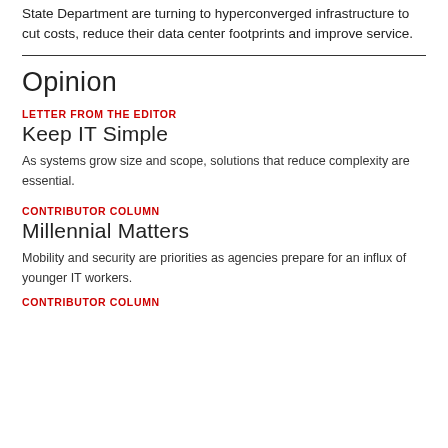State Department are turning to hyperconverged infrastructure to cut costs, reduce their data center footprints and improve service.
Opinion
LETTER FROM THE EDITOR
Keep IT Simple
As systems grow size and scope, solutions that reduce complexity are essential.
CONTRIBUTOR COLUMN
Millennial Matters
Mobility and security are priorities as agencies prepare for an influx of younger IT workers.
CONTRIBUTOR COLUMN